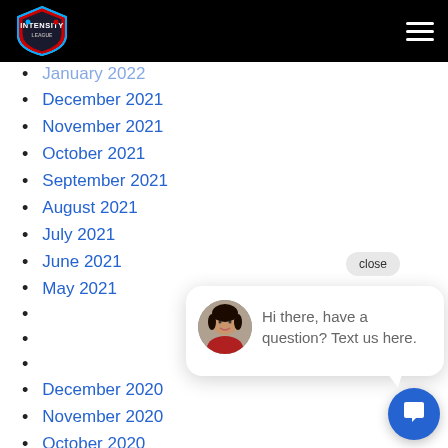Intensity League
January 2022
December 2021
November 2021
October 2021
September 2021
August 2021
July 2021
June 2021
May 2021
December 2020
November 2020
October 2020
September 2020
August 2020
[Figure (screenshot): Chat popup widget with avatar and message: Hi there, have a question? Text us here.]